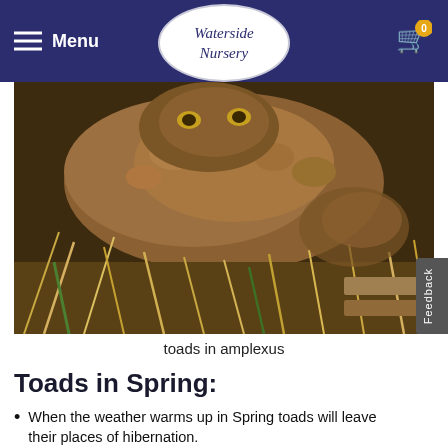Menu | Waterside Nursery
[Figure (photo): Close-up photograph of two toads in amplexus (mating embrace) among straw and plant material]
toads in amplexus
Toads in Spring:
When the weather warms up in Spring toads will leave their places of hibernation.
They journey back to their breeding ponds – those used by their family for generations.
They will try to return even if a busy road is now in the way.